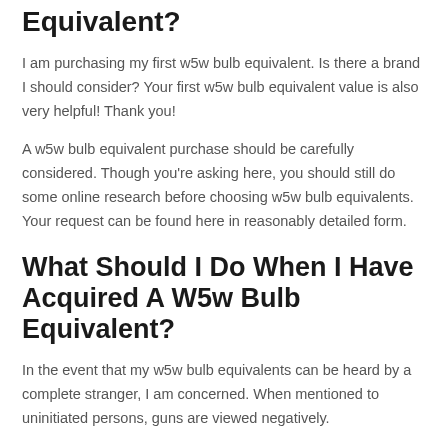Equivalent?
I am purchasing my first w5w bulb equivalent. Is there a brand I should consider? Your first w5w bulb equivalent value is also very helpful! Thank you!
A w5w bulb equivalent purchase should be carefully considered. Though you're asking here, you should still do some online research before choosing w5w bulb equivalents. Your request can be found here in reasonably detailed form.
What Should I Do When I Have Acquired A W5w Bulb Equivalent?
In the event that my w5w bulb equivalents can be heard by a complete stranger, I am concerned. When mentioned to uninitiated persons, guns are viewed negatively.